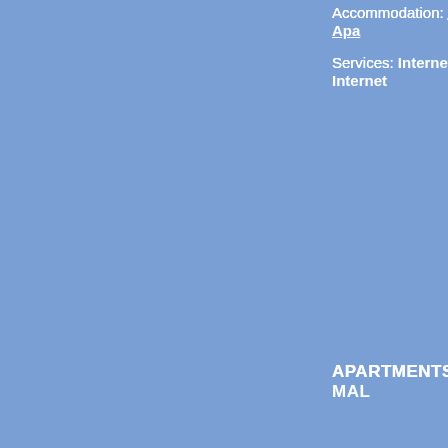Accommodation: Apa...
Services: Internet
APARTMENTS MAL...
Place: Mandre (island...
Location: on quiet pla...